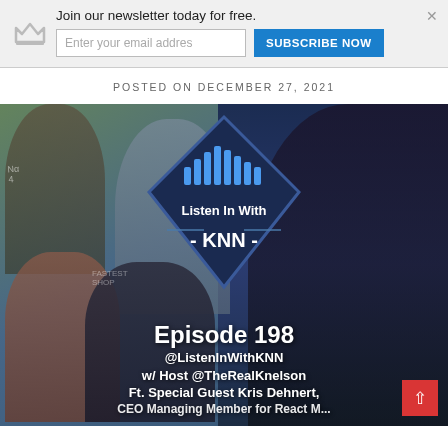[Figure (screenshot): Newsletter subscription banner with crown icon, 'Join our newsletter today for free.' heading, email input field reading 'Enter your email addres', a blue 'SUBSCRIBE NOW' button, and a close X button.]
POSTED ON DECEMBER 27, 2021
[Figure (photo): Podcast promotional image for 'Listen In With KNN' Episode 198. Shows collage of people including two men on left outdoors in sports setting, a man holding a bat seated indoors in the center-left, and a smiling woman with dark hair on the right. The center features a dark blue diamond logo with soundwave graphic and text 'Listen In With - KNN -'. Bottom text reads: 'Episode 198 @ListenInWithKNN w/ Host @TheRealKnelson Ft. Special Guest Kris Dehnert,' followed by partially visible text. A red scroll-up arrow button appears bottom right.]